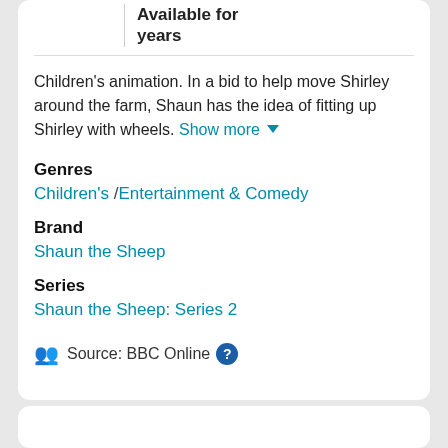Available for years
Children's animation. In a bid to help move Shirley around the farm, Shaun has the idea of fitting up Shirley with wheels. Show more
Genres
Children's / Entertainment & Comedy
Brand
Shaun the Sheep
Series
Shaun the Sheep: Series 2
Source: BBC Online